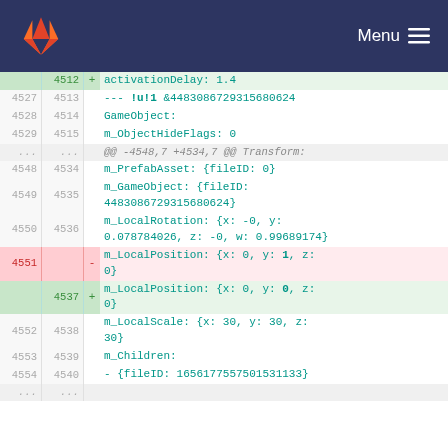GitLab — Menu
| old_ln | new_ln | op | code |
| --- | --- | --- | --- |
|  | 4512 | + |     activationDelay: 1.4 |
| 4527 | 4513 |  | --- !u!1 &4483086729315680624 |
| 4528 | 4514 |  | GameObject: |
| 4529 | 4515 |  |     m_ObjectHideFlags: 0 |
| ... | ... |  | @@ -4548,7 +4534,7 @@ Transform: |
| 4548 | 4534 |  |     m_PrefabAsset: {fileID: 0} |
| 4549 | 4535 |  |     m_GameObject: {fileID: 4483086729315680624} |
| 4550 | 4536 |  |     m_LocalRotation: {x: -0, y: 0.078784026, z: -0, w: 0.99689174} |
| 4551 |  | - |     m_LocalPosition: {x: 0, y: 1, z: 0} |
|  | 4537 | + |     m_LocalPosition: {x: 0, y: 0, z: 0} |
| 4552 | 4538 |  |     m_LocalScale: {x: 30, y: 30, z: 30} |
| 4553 | 4539 |  |     m_Children: |
| 4554 | 4540 |  |     - {fileID: 1656177557501531133} |
| ... | ... |  |  |